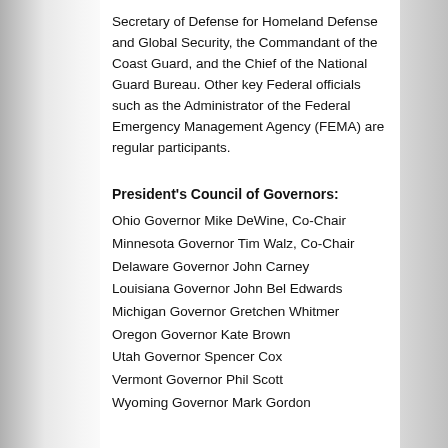Secretary of Defense for Homeland Defense and Global Security, the Commandant of the Coast Guard, and the Chief of the National Guard Bureau. Other key Federal officials such as the Administrator of the Federal Emergency Management Agency (FEMA) are regular participants.
President's Council of Governors:
Ohio Governor Mike DeWine, Co-Chair
Minnesota Governor Tim Walz, Co-Chair
Delaware Governor John Carney
Louisiana Governor John Bel Edwards
Michigan Governor Gretchen Whitmer
Oregon Governor Kate Brown
Utah Governor Spencer Cox
Vermont Governor Phil Scott
Wyoming Governor Mark Gordon